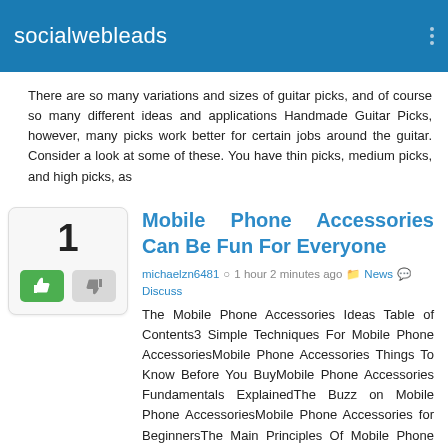socialwebleads
There are so many variations and sizes of guitar picks, and of course so many different ideas and applications Handmade Guitar Picks, however, many picks work better for certain jobs around the guitar. Consider a look at some of these. You have thin picks, medium picks, and high picks, as
Mobile Phone Accessories Can Be Fun For Everyone
michaelzn6481 · 1 hour 2 minutes ago · News · Discuss
The Mobile Phone Accessories Ideas Table of Contents3 Simple Techniques For Mobile Phone AccessoriesMobile Phone Accessories Things To Know Before You BuyMobile Phone Accessories Fundamentals ExplainedThe Buzz on Mobile Phone AccessoriesMobile Phone Accessories for BeginnersThe Main Principles Of Mobile Phone Accessories Mobile Phone AccessoriesYou might additionally use it as a